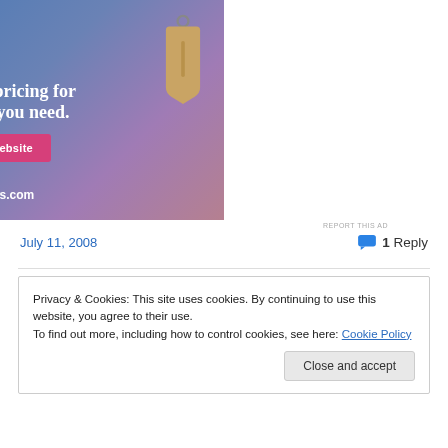[Figure (screenshot): WordPress.com advertisement banner with blue-purple gradient background, text 'Simplified pricing for everything you need.', a pink 'Build Your Website' button, a price tag image, and the WordPress.com logo at the bottom.]
REPORT THIS AD
July 11, 2008
1 Reply
Privacy & Cookies: This site uses cookies. By continuing to use this website, you agree to their use.
To find out more, including how to control cookies, see here: Cookie Policy
Close and accept